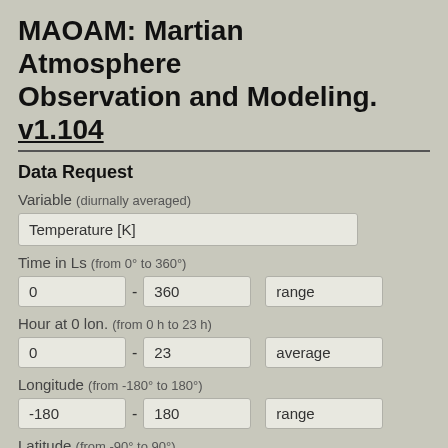MAOAM: Martian Atmosphere Observation and Modeling. v1.104
Data Request
Variable (diurnally averaged)
Temperature [K]
Time in Ls (from 0° to 360°)
0 - 360  range
Hour at 0 lon. (from 0 h to 23 h)
0 - 23  average
Longitude (from -180° to 180°)
-180 - 180  range
Latitude (from -90° to 90°)
-35 - -35  range